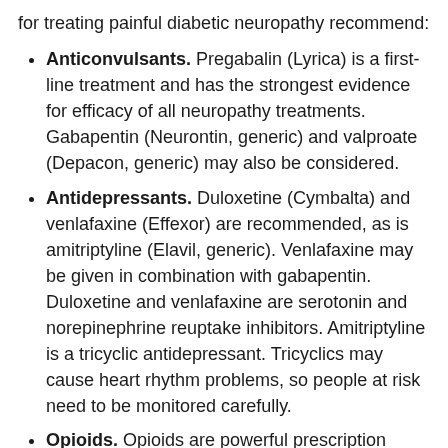for treating painful diabetic neuropathy recommend:
Anticonvulsants. Pregabalin (Lyrica) is a first-line treatment and has the strongest evidence for efficacy of all neuropathy treatments. Gabapentin (Neurontin, generic) and valproate (Depacon, generic) may also be considered.
Antidepressants. Duloxetine (Cymbalta) and venlafaxine (Effexor) are recommended, as is amitriptyline (Elavil, generic). Venlafaxine may be given in combination with gabapentin. Duloxetine and venlafaxine are serotonin and norepinephrine reuptake inhibitors. Amitriptyline is a tricyclic antidepressant. Tricyclics may cause heart rhythm problems, so people at risk need to be monitored carefully.
Opioids. Opioids are powerful prescription narcotic painkillers. Morphine, oxycodone, and tramadol (Ultram, generic) may be considered for severe